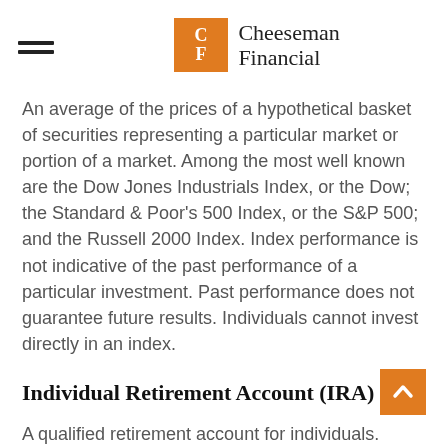Cheeseman Financial
An average of the prices of a hypothetical basket of securities representing a particular market or portion of a market. Among the most well known are the Dow Jones Industrials Index, or the Dow; the Standard & Poor's 500 Index, or the S&P 500; and the Russell 2000 Index. Index performance is not indicative of the past performance of a particular investment. Past performance does not guarantee future results. Individuals cannot invest directly in an index.
Individual Retirement Account (IRA)
A qualified retirement account for individuals.